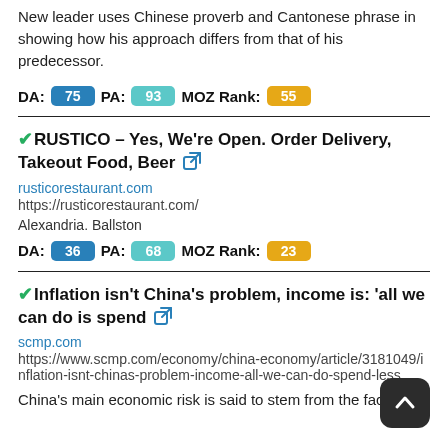New leader uses Chinese proverb and Cantonese phrase in showing how his approach differs from that of his predecessor.
DA: 75 PA: 93 MOZ Rank: 55
RUSTICO – Yes, We're Open. Order Delivery, Takeout Food, Beer
rusticorestaurant.com
https://rusticorestaurant.com/
Alexandria. Ballston
DA: 36 PA: 68 MOZ Rank: 23
Inflation isn't China's problem, income is: 'all we can do is spend
scmp.com
https://www.scmp.com/economy/china-economy/article/3181049/inflation-isnt-chinas-problem-income-all-we-can-do-spend-less
China's main economic risk is said to stem from the fact that